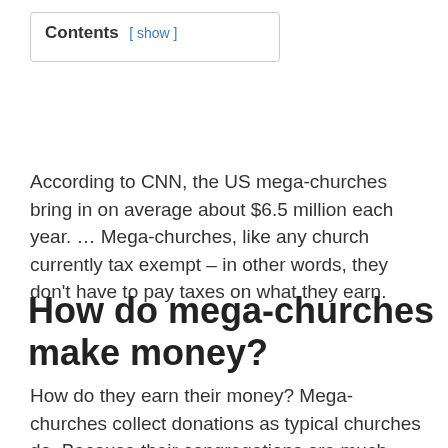Contents [ show ]
According to CNN, the US mega-churches bring in on average about $6.5 million each year. … Mega-churches, like any church currently tax exempt – in other words, they don't have to pay taxes on what they earn.
How do mega-churches make money?
How do they earn their money? Mega-churches collect donations as typical churches do. Because their congregations are much larger than your average church, they have more donors and therefore more